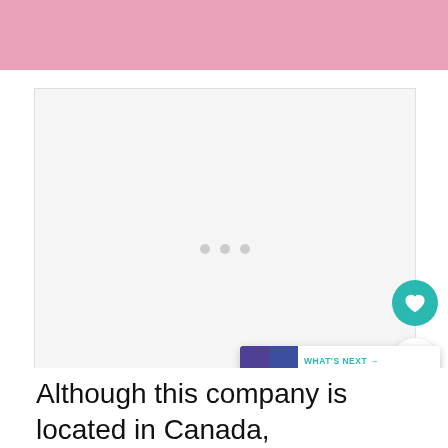[Figure (photo): Partial photo showing pink fabric/clothing, cropped at top of page]
[Figure (other): Advertisement placeholder box with three gray loading dots in the center]
Although this company is located in Canada,